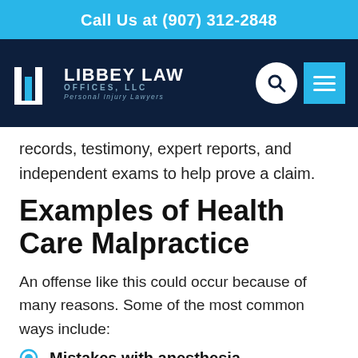Call Us at (907) 312-2848
[Figure (logo): Libbey Law Offices, LLC logo with navigation bar on dark navy background, search icon and menu icon on right]
records, testimony, expert reports, and independent exams to help prove a claim.
Examples of Health Care Malpractice
An offense like this could occur because of many reasons. Some of the most common ways include:
Mistakes with anesthesia